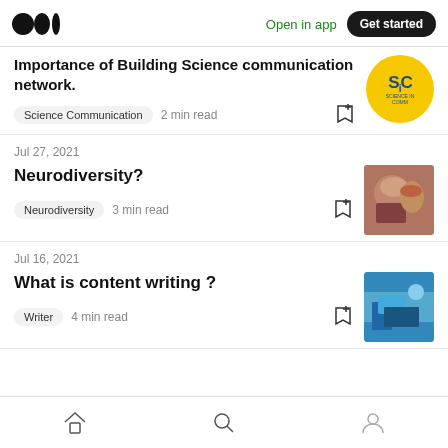Medium app header — Open in app | Get started
Importance of Building Science communication network.
Science Communication  2 min read
Jul 27, 2021
Neurodiversity?
Neurodiversity  3 min read
Jul 16, 2021
What is content writing ?
Writer  4 min read
Home | Search | Profile